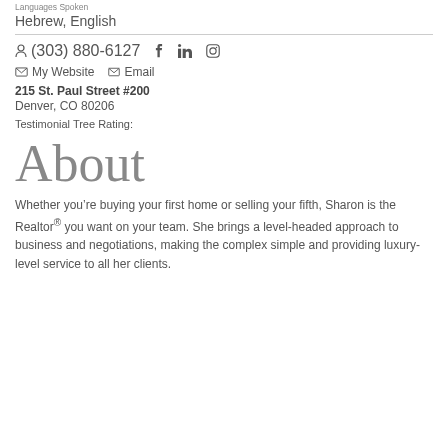Languages Spoken
Hebrew, English
(303) 880-6127
My Website   Email
215 St. Paul Street #200
Denver, CO 80206
Testimonial Tree Rating:
About
Whether you’re buying your first home or selling your fifth, Sharon is the Realtor® you want on your team. She brings a level-headed approach to business and negotiations, making the complex simple and providing luxury-level service to all her clients.